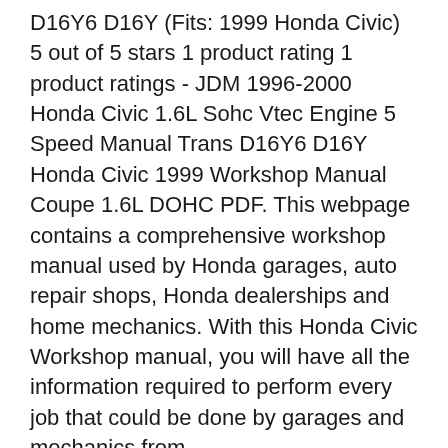D16Y6 D16Y (Fits: 1999 Honda Civic) 5 out of 5 stars 1 product rating 1 product ratings - JDM 1996-2000 Honda Civic 1.6L Sohc Vtec Engine 5 Speed Manual Trans D16Y6 D16Y Honda Civic 1999 Workshop Manual Coupe 1.6L DOHC PDF. This webpage contains a comprehensive workshop manual used by Honda garages, auto repair shops, Honda dealerships and home mechanics. With this Honda Civic Workshop manual, you will have all the information required to perform every job that could be done by garages and mechanics from
Vous trouverez sans doute votre prochain 1999 Honda Civic parmi nos